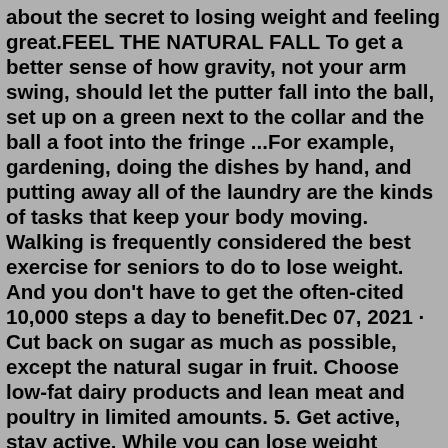about the secret to losing weight and feeling great.FEEL THE NATURAL FALL To get a better sense of how gravity, not your arm swing, should let the putter fall into the ball, set up on a green next to the collar and the ball a foot into the fringe ...For example, gardening, doing the dishes by hand, and putting away all of the laundry are the kinds of tasks that keep your body moving. Walking is frequently considered the best exercise for seniors to do to lose weight. And you don't have to get the often-cited 10,000 steps a day to benefit.Dec 07, 2021 · Cut back on sugar as much as possible, except the natural sugar in fruit. Choose low-fat dairy products and lean meat and poultry in limited amounts. 5. Get active, stay active. While you can lose weight without exercise, regular physical activity plus calorie restriction can help give you the weight-loss edge. Dr. Chatterjee has had great success in helping his patients lose weight and keep it off by avoiding the "eat less and exercise more" trap. He realized that five key elements can help us tune into our hunger cues, emotional needs